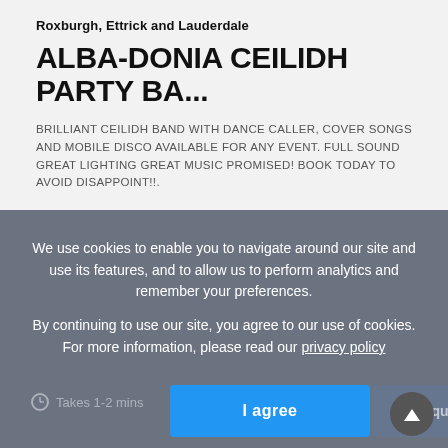Roxburgh, Ettrick and Lauderdale
ALBA-DONIA CEILIDH PARTY BA...
BRILLIANT CEILIDH BAND WITH DANCE CALLER, COVER SONGS AND MOBILE DISCO AVAILABLE FOR ANY EVENT. FULL SOUND GREAT LIGHTING GREAT MUSIC PROMISED! BOOK TODAY TO AVOID DISAPPOINT!!.
View details
We use cookies to enable you to navigate around our site and use its features, and to allow us to perform analytics and remember your preferences.
By continuing to use our site, you agree to our use of cookies. For more information, please read our privacy policy